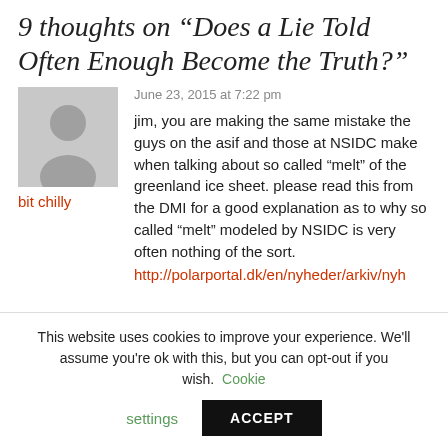9 thoughts on “Does a Lie Told Often Enough Become the Truth?”
June 23, 2015 at 7:22 pm
bit chilly
jim, you are making the same mistake the guys on the asif and those at NSIDC make when talking about so called “melt” of the greenland ice sheet. please read this from the DMI for a good explanation as to why so called “melt” modeled by NSIDC is very often nothing of the sort.
http://polarportal.dk/en/nyheder/arkiv/nyh
This website uses cookies to improve your experience. We'll assume you're ok with this, but you can opt-out if you wish. Cookie settings ACCEPT